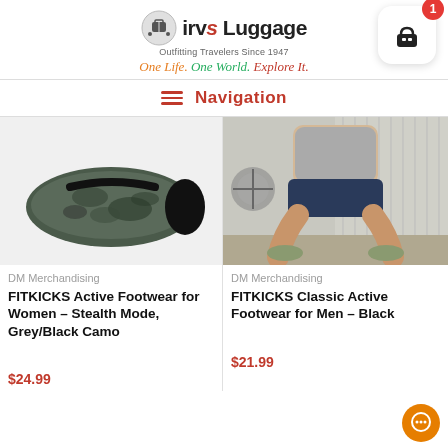[Figure (logo): Irv's Luggage logo with suitcase icon, text 'irvs Luggage', tagline 'Outfitting Travelers Since 1947', and colorful cursive 'One Life. One World. Explore It.']
[Figure (other): Shopping cart icon with red badge showing '1']
Navigation
[Figure (photo): Camo pattern slip-on shoe (grey/black camo, FITKICKS style) on white background]
[Figure (photo): Person squatting in gym wearing FITKICKS Classic Active Footwear in black]
DM Merchandising
DM Merchandising
FITKICKS Active Footwear for Women – Stealth Mode, Grey/Black Camo
FITKICKS Classic Active Footwear for Men – Black
[Figure (other): 5 empty star rating icons]
[Figure (other): 5 empty star rating icons]
$21.99